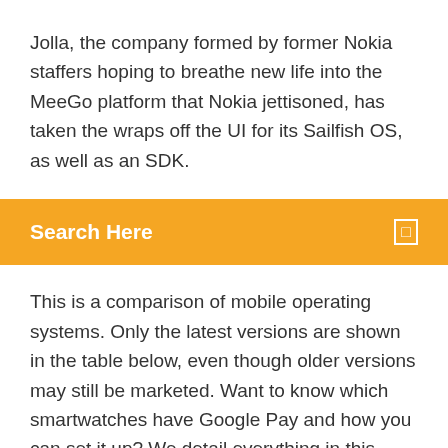Jolla, the company formed by former Nokia staffers hoping to breathe new life into the MeeGo platform that Nokia jettisoned, has taken the wraps off the UI for its Sailfish OS, as well as an SDK.
[Figure (other): Orange/yellow search bar with 'Search Here' text in white bold and a small square icon on the right]
This is a comparison of mobile operating systems. Only the latest versions are shown in the table below, even though older versions may still be marketed. Want to know which smartwatches have Google Pay and how you can set it up? We detail everything in this complete guide Download Yandex apk 9.85 for Android. Yandex - news, weather, search, places on map in one tiny app Apple's App Store continues to attract more revenue than the Google Play Store even though Android devices have a market share of approximately 85%. This is due